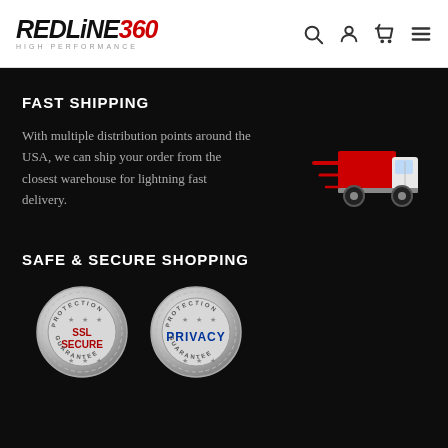REDLINE360 HIGH PERFORMANCE — navigation header with search, account, cart, and menu icons
FAST SHIPPING
With multiple distribution points around the USA, we can ship your order from the closest warehouse for lightning fast delivery.
[Figure (illustration): Fast delivery truck icon with red truck body and speed lines, white cab, on dark background]
SAFE & SECURE SHOPPING
[Figure (illustration): SSL SECURE Protection Guarantee badge — circular silver badge with red text]
[Figure (illustration): PRIVACY Protection Guarantee badge — circular silver badge with blue text]